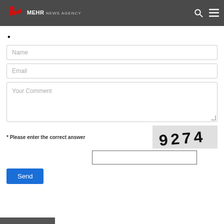MEHR NEWS AGENCY
•
[Figure (screenshot): Web form with Name, Email, and Your Comment input fields, a CAPTCHA image showing '9274', an answer input box, and a Send button]